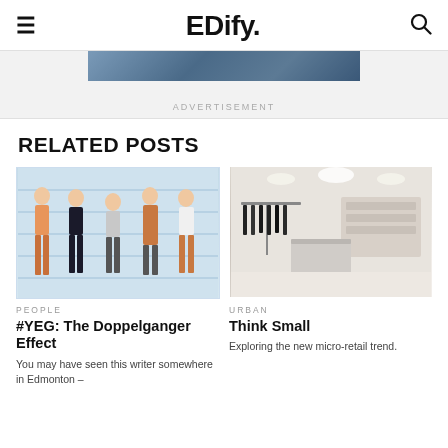EDify.
[Figure (photo): Advertisement banner image — dark blue/slate photograph used as ad strip]
ADVERTISEMENT
RELATED POSTS
[Figure (illustration): Illustrated lineup of five stylishly dressed young men against a blue-lined police lineup background]
PEOPLE
#YEG: The Doppelganger Effect
You may have seen this writer somewhere in Edmonton –
[Figure (photo): Interior photo of a modern, bright retail store with white shelves, clothing racks, and display tables]
URBAN
Think Small
Exploring the new micro-retail trend.